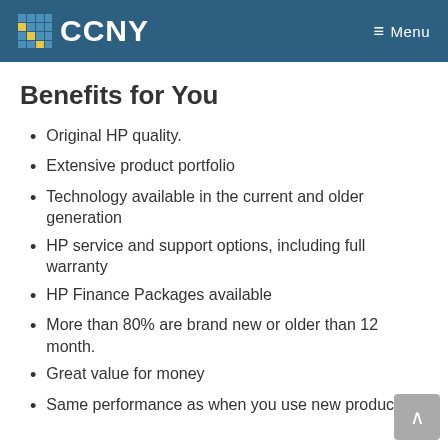CCNY  Menu
Benefits for You
Original HP quality.
Extensive product portfolio
Technology available in the current and older generation
HP service and support options, including full warranty
HP Finance Packages available
More than 80% are brand new or older than 12 month.
Great value for money
Same performance as when you use new products